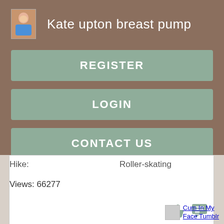Kate upton breast pump
REGISTER
LOGIN
CONTACT US
Hike:    Roller-skating
Views: 66277
[Figure (screenshot): Like and comment icons in teal/green color]
[Figure (screenshot): Watermark image thumbnail with text 'Cum In My Face Tumblr' as a hyperlink]